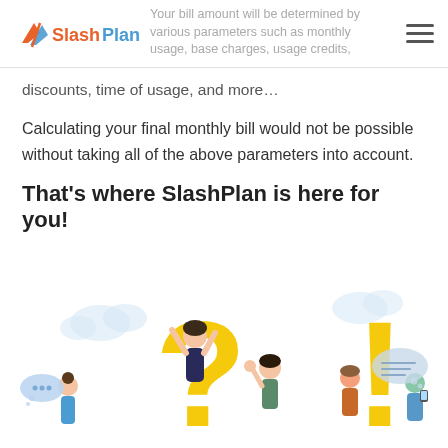SlashPlan
Your bill amount will be determined by various parameters such as monthly usage, base charges, usage credits, discounts, time of usage, and more…
Calculating your final monthly bill would not be possible without taking all of the above parameters into account.
That's where SlashPlan is here for you!
[Figure (illustration): Illustration of diverse people standing around large question mark and exclamation mark symbols with speech bubbles, on white background]